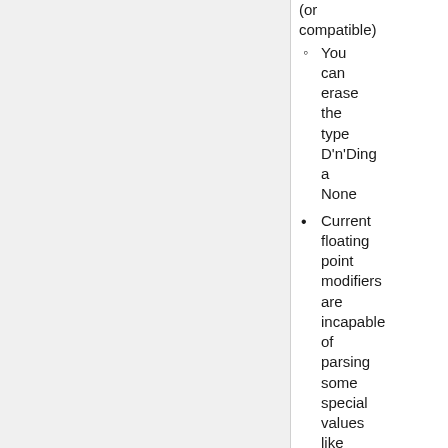(or compatible)
You can erase the type D'n'Ding a None
Current floating point modifiers are incapable of parsing some special values like